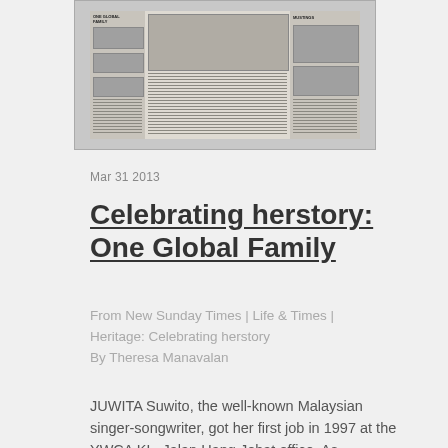[Figure (photo): Photograph of an open newspaper spread showing the 'One Global Family' article from New Sunday Times, with multiple photos of people visible on the pages.]
Mar 31 2013
Celebrating herstory: One Global Family
From New Sunday Times | Life & Times | Heritage: Celebrating herstory
By Theresa Manavalan
JUWITA Suwito, the well-known Malaysian singer-songwriter, got her first job in 1997 at the YWCA KL, Jalan Hang Jebat office. As